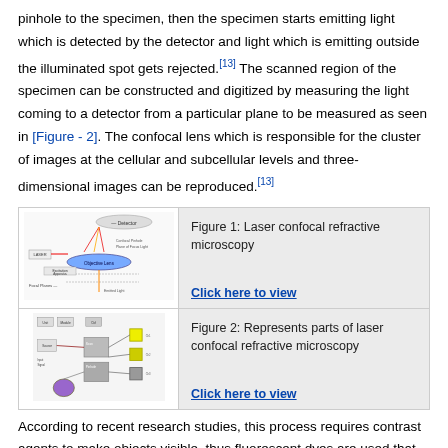pinhole to the specimen, then the specimen starts emitting light which is detected by the detector and light which is emitting outside the illuminated spot gets rejected.[13] The scanned region of the specimen can be constructed and digitized by measuring the light coming to a detector from a particular plane to be measured as seen in [Figure - 2]. The confocal lens which is responsible for the cluster of images at the cellular and subcellular levels and three-dimensional images can be reproduced.[13]
[Figure (illustration): Laser confocal refractive microscopy diagram showing optical path with detector, pinhole, objective lens, focal planes, and laser]
Figure 1: Laser confocal refractive microscopy
[Figure (schematic): Schematic diagram representing parts of laser confocal refractive microscopy showing various components and connections]
Figure 2: Represents parts of laser confocal refractive microscopy
According to recent research studies, this process requires contrast agents to make objects visible, thus fluorescent dyes are used that will be locally injected into the